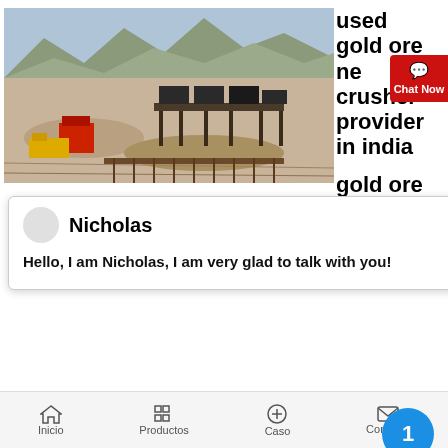[Figure (photo): Aerial/ground view of an open-pit mining site with machinery and ore processing equipment]
used gold ore ne crusher provider in india
[Figure (screenshot): Chat popup with Nicholas saying: Hello, I am Nicholas, I am very glad to talk with you!]
portable crusher provider in india Portable iron ore impact crusher provider in indiaPortable gold ore crusher provider in portable iron ore crusher provider haarstudioortable iron ore cone crusher provider hj series jaw crusher is widely used in various materials processing of mining construction industries such as it is suit forPortable Li Ne Cone Crusher Provider Jamaicafrom Portable gold ore crusher
Inicio  Productos  Caso  Contacto